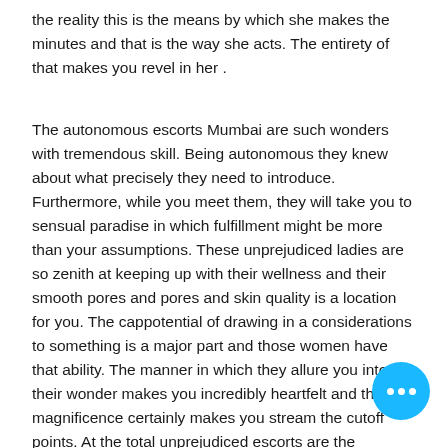the reality this is the means by which she makes the minutes and that is the way she acts. The entirety of that makes you revel in her .
The autonomous escorts Mumbai are such wonders with tremendous skill. Being autonomous they knew about what precisely they need to introduce. Furthermore, while you meet them, they will take you to sensual paradise in which fulfillment might be more than your assumptions. These unprejudiced ladies are so zenith at keeping up with their wellness and their smooth pores and pores and skin quality is a location for you. The cappotential of drawing in a considerations to something is a major part and those women have that ability. The manner in which they allure you into their wonder makes you incredibly heartfelt and that magnificence certainly makes you stream the cutoff points. At the total unprejudiced escorts are the extraordinary longing in the that you are searching for remarkable sensi fulfillment.
[Figure (other): Cyan/blue circular chat button with three white dots]